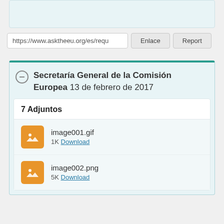https://www.asktheeu.org/es/requ
Enlace
Report
Secretaría General de la Comisión Europea 13 de febrero de 2017
7 Adjuntos
image001.gif
1K Download
image002.png
5K Download